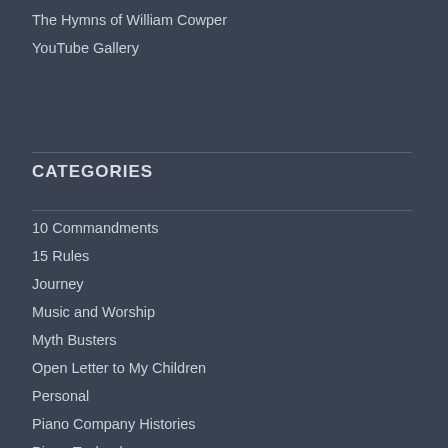The Hymns of William Cowper
YouTube Gallery
CATEGORIES
10 Commandments
15 Rules
Journey
Music and Worship
Myth Busters
Open Letter to My Children
Personal
Piano Company Histories
Piano Technology